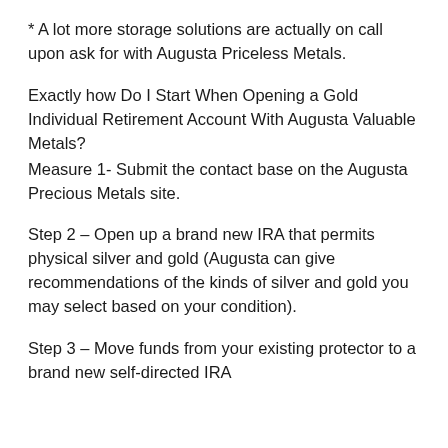* A lot more storage solutions are actually on call upon ask for with Augusta Priceless Metals.
Exactly how Do I Start When Opening a Gold Individual Retirement Account With Augusta Valuable Metals?
Measure 1- Submit the contact base on the Augusta Precious Metals site.
Step 2 – Open up a brand new IRA that permits physical silver and gold (Augusta can give recommendations of the kinds of silver and gold you may select based on your condition).
Step 3 – Move funds from your existing protector to a brand new self-directed IRA